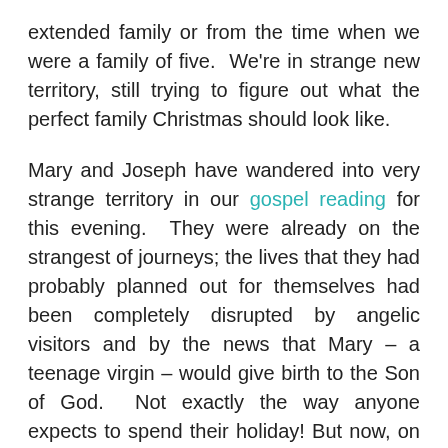extended family or from the time when we were a family of five.  We're in strange new territory, still trying to figure out what the perfect family Christmas should look like.
Mary and Joseph have wandered into very strange territory in our gospel reading for this evening.  They were already on the strangest of journeys; the lives that they had probably planned out for themselves had been completely disrupted by angelic visitors and by the news that Mary – a teenage virgin – would give birth to the Son of God.  Not exactly the way anyone expects to spend their holiday! But now, on top of all this, the powers that be have decided that a census must be taken – right now! – probably so they can more efficiently tax everybody.  And so, with Mary about-to-burst pregnant, she and Joseph suddenly have